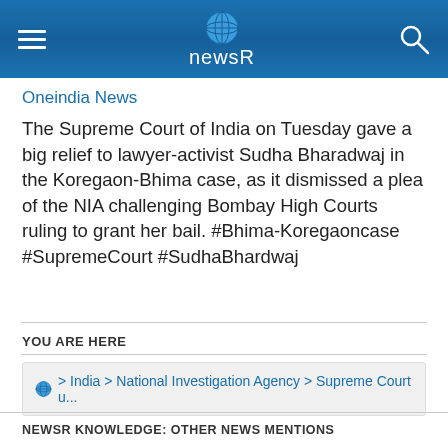newsR
Oneindia News
The Supreme Court of India on Tuesday gave a big relief to lawyer-activist Sudha Bharadwaj in the Koregaon-Bhima case, as it dismissed a plea of the NIA challenging Bombay High Courts ruling to grant her bail. #Bhima-Koregaoncase #SupremeCourt #SudhaBhardwaj
YOU ARE HERE
🌐 > India > National Investigation Agency > Supreme Court u...
NEWSR KNOWLEDGE: OTHER NEWS MENTIONS